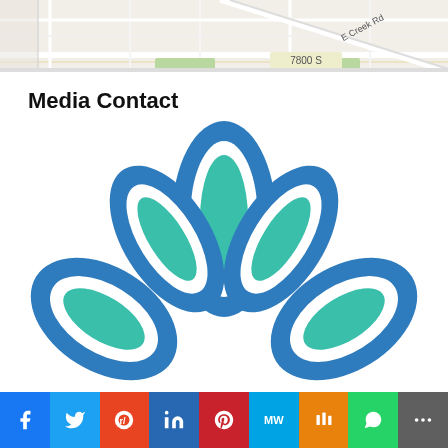[Figure (map): Street map showing 7800 S area with roads including E Creek Rd, partial map view with street grid]
Media Contact
[Figure (logo): Lotus flower logo with blue outline and teal/green fill, three petals arranged symmetrically]
[Figure (infographic): Social media sharing bar with icons for Facebook, Twitter, Reddit, LinkedIn, Pinterest, MeWe, Mix, WhatsApp, and More]